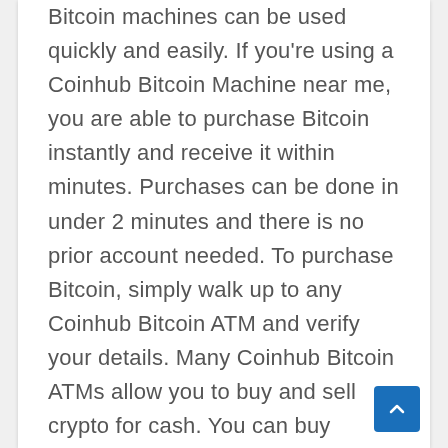Bitcoin machines can be used quickly and easily. If you're using a Coinhub Bitcoin Machine near me, you are able to purchase Bitcoin instantly and receive it within minutes. Purchases can be done in under 2 minutes and there is no prior account needed. To purchase Bitcoin, simply walk up to any Coinhub Bitcoin ATM and verify your details. Many Coinhub Bitcoin ATMs allow you to buy and sell crypto for cash. You can buy Bitcoin using one our Bitcoin ATMs. First, locate the nearest Bitcoin ATM in your area by visiting our Coinhub Bitcoin ATM Locator. Walk up to the machine and enter your phone number. You will then verify your phone with a code and scan your bitcoin wallet. Enter each bill one at a time to determine the amount you wish to purchase. After that, confirm the purchase by entering the bitcoin atm. The bitcoin is instantly sent to your wallet. The daily buying limit is $25,000. There are Bitcoin Machines located in major